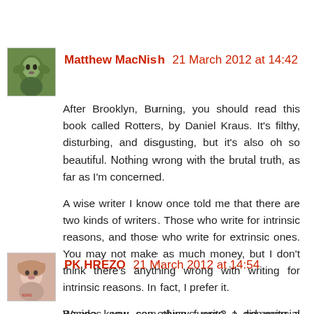Matthew MacNish 21 March 2012 at 14:42
After Brooklyn, Burning, you should read this book called Rotters, by Daniel Kraus. It's filthy, disturbing, and disgusting, but it's also oh so beautiful. Nothing wrong with the brutal truth, as far as I'm concerned.

A wise writer I know once told me that there are two kinds of writers. Those who write for intrinsic reasons, and those who write for extrinsic ones. You may not make as much money, but I don't think there's anything wrong with writing for intrinsic reasons. In fact, I prefer it.

Besides, you can always write a commercial thriller someday.
Reply
PK HREZO 21 March 2012 at 14:54
Wanna know something funny? I did write a commercial thriller and upon its rejection, for of its bla...